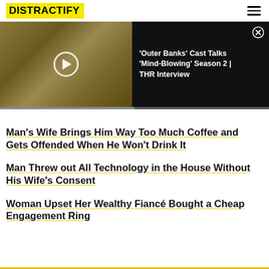DISTRACTIFY
[Figure (screenshot): Video thumbnail showing the Outer Banks cast in a wooded scene with play button overlay, and a black panel with text: 'Outer Banks' Cast Talks 'Mind-Blowing' Season 2 | THR Interview]
Man's Wife Brings Him Way Too Much Coffee and Gets Offended When He Won't Drink It
Man Threw out All Technology in the House Without His Wife's Consent
Woman Upset Her Wealthy Fiancé Bought a Cheap Engagement Ring